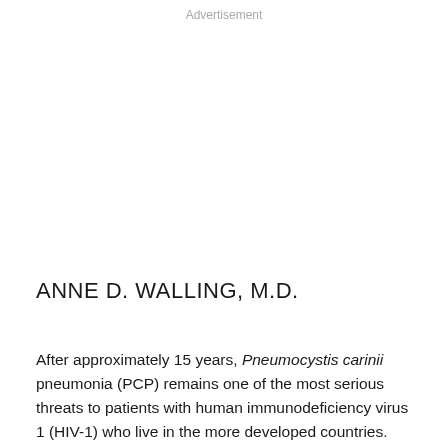Advertisement
ANNE D. WALLING, M.D.
After approximately 15 years, Pneumocystis carinii pneumonia (PCP) remains one of the most serious threats to patients with human immunodeficiency virus 1 (HIV-1) who live in the more developed countries. The available